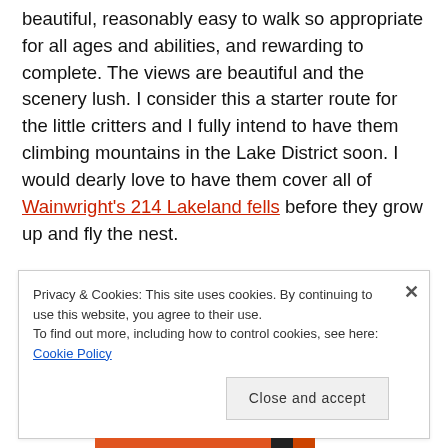beautiful, reasonably easy to walk so appropriate for all ages and abilities, and rewarding to complete. The views are beautiful and the scenery lush. I consider this a starter route for the little critters and I fully intend to have them climbing mountains in the Lake District soon. I would dearly love to have them cover all of Wainwright's 214 Lakeland fells before they grow up and fly the nest.
Privacy & Cookies: This site uses cookies. By continuing to use this website, you agree to their use. To find out more, including how to control cookies, see here: Cookie Policy